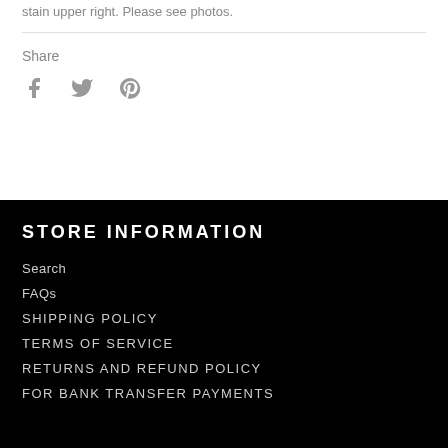stain upper right. Please see photos.
Share
[Figure (illustration): Social media share icons: Facebook (f), Twitter (bird), Pinterest (P)]
STORE INFORMATION
Search
FAQs
SHIPPING POLICY
TERMS OF SERVICE
RETURNS AND REFUND POLICY
FOR BANK TRANSFER PAYMENTS